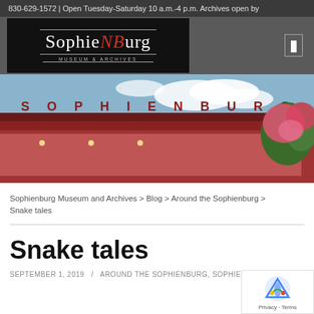830-629-1572 | Open Tuesday-Saturday 10 a.m.-4 p.m. Archives open by
[Figure (screenshot): SophieNBurg Museum & Archives logo on black background]
[Figure (photo): Hero photo of Sophienburg museum building exterior with red letters spelling SOPHIENBURG on the roofline, blue sky and pink flowering trees in background]
Sophienburg Museum and Archives > Blog > Around the Sophienburg > Snake tales
Snake tales
SEPTEMBER 1, 2019  /  AROUND THE SOPHIENBURG, SOPHIENBLOG